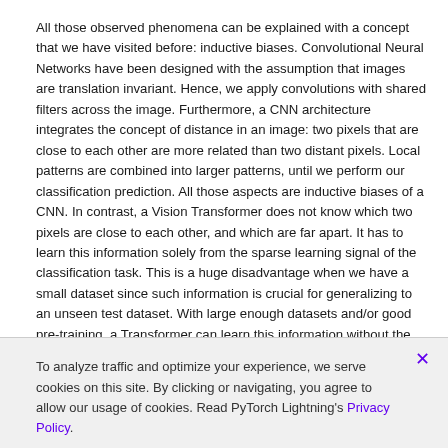All those observed phenomena can be explained with a concept that we have visited before: inductive biases. Convolutional Neural Networks have been designed with the assumption that images are translation invariant. Hence, we apply convolutions with shared filters across the image. Furthermore, a CNN architecture integrates the concept of distance in an image: two pixels that are close to each other are more related than two distant pixels. Local patterns are combined into larger patterns, until we perform our classification prediction. All those aspects are inductive biases of a CNN. In contrast, a Vision Transformer does not know which two pixels are close to each other, and which are far apart. It has to learn this information solely from the sparse learning signal of the classification task. This is a huge disadvantage when we have a small dataset since such information is crucial for generalizing to an unseen test dataset. With large enough datasets and/or good pre-training, a Transformer can learn this information without the need of inductive biases, and instead is more flexible than a CNN. Especially long-distance relations between local patterns can be difficult to process in CNNs, while in Transformers, all patches have the distance of one. This is why Vision Transformers are so strong on large-scale datasets such as ImageNet, but underperform a lot when being applied to a small dataset such as CIFAR10.
To analyze traffic and optimize your experience, we serve cookies on this site. By clicking or navigating, you agree to allow our usage of cookies. Read PyTorch Lightning's Privacy Policy.